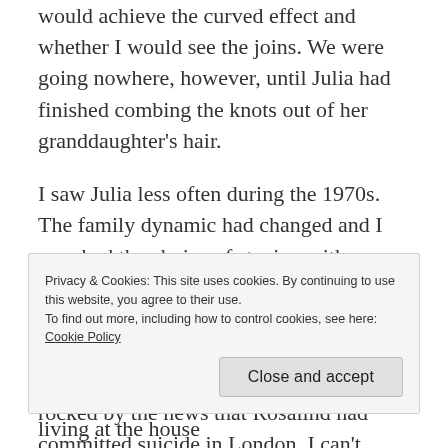would achieve the curved effect and whether I would see the joins.  We were going nowhere, however, until Julia had finished combing the knots out of her granddaughter's hair.
I saw Julia less often during the 1970s.  The family dynamic had changed and I now had the choice of staying with my brother, who had relocated to Johannesburg in 1972.  Issy died in 1974, the end of his life spent in a dementia care facility.  Four years later we were rocked by the news that Rosalind had committed suicide in London.  I can't imagine the grief Julia must
Privacy & Cookies: This site uses cookies. By continuing to use this website, you agree to their use.
To find out more, including how to control cookies, see here: Cookie Policy
Close and accept
arrange a time to visit.  Julia was still living at the house